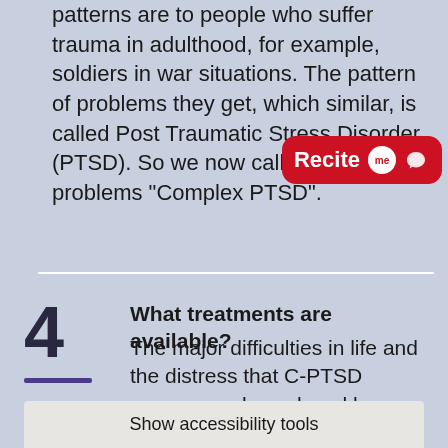patterns are to people who suffer trauma in adulthood, for example, soldiers in war situations. The pattern of problems they get, which similar, is called Post Traumatic Stress Disorder (PTSD). So we now call these problems "Complex PTSD".
[Figure (logo): Recite Me red badge with speech bubble icon]
4 What treatments are available?
The major difficulties in life and the distress that C-PTSD causes can be reduced by addressing the rapid and extreme changes in thinking and b... e with
Show accessibility tools